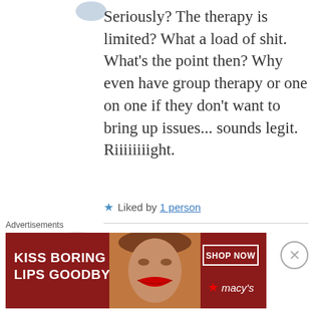Seriously? The therapy is limited? What a load of shit. What's the point then? Why even have group therapy or one on one if they don't want to bring up issues... sounds legit. Riiiiiiiight.
★ Liked by 1 person
Sam
Advertisements
[Figure (photo): Ad banner for Macy's lipstick: KISS BORING LIPS GOODBYE with SHOP NOW button and Macy's logo, showing a woman's face with red lipstick]